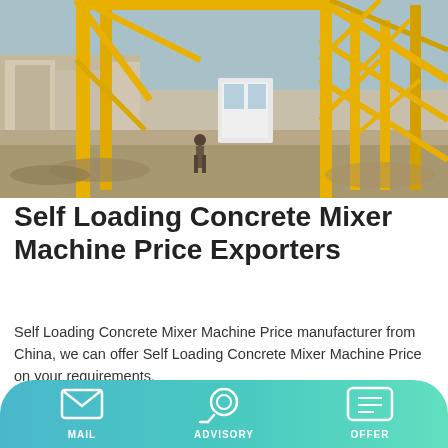[Figure (photo): Construction site with large yellow crane/tower structure, workers visible, dusty ground, residential buildings in background]
Self Loading Concrete Mixer Machine Price Exporters
Self Loading Concrete Mixer Machine Price manufacturer from China, we can offer Self Loading Concrete Mixer Machine Price on your requirements.
[Figure (other): Learn More button — teal/cyan rectangular button]
[Figure (photo): Green concrete mixer truck on light grey background, showing cab and rotating drum]
[Figure (infographic): Bottom navigation bar with gradient teal background showing MAIL, ADVISORY, and OFFER icons with labels]